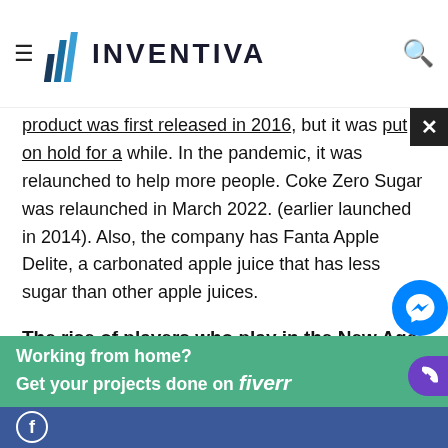INVENTIVA
product was first released in 2016, but it was put on hold for a while. In the pandemic, it was relaunched to help more people. Coke Zero Sugar was relaunched in March 2022. (earlier launched in 2014). Also, the company has Fanta Apple Delite, a carbonated apple juice that has less sugar than other apple juices.
The rise of players who play in the New Age genre.
People have been getting more and more interested in drinks that aren't as sweet for a few years now. The trend began before the pandemic and continued for a long time.
Working from home? Get your projects done on fiverr